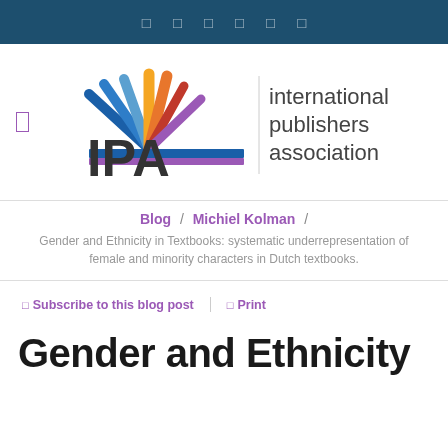navigation bar with icons
[Figure (logo): IPA International Publishers Association logo with colorful fan/rays graphic, bold IPA text, and 'international publishers association' text]
Blog / Michiel Kolman / Gender and Ethnicity in Textbooks: systematic underrepresentation of female and minority characters in Dutch textbooks.
Subscribe to this blog post | Print
Gender and Ethnicity